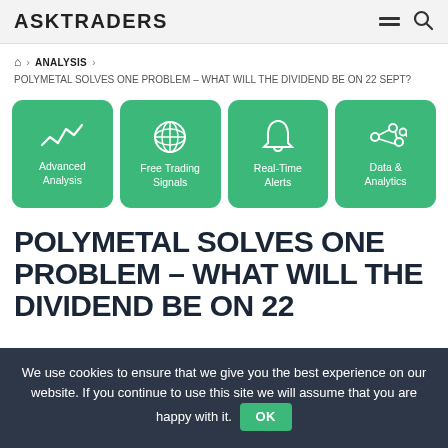ASKTRADERS
🏠 > ANALYSIS > POLYMETAL SOLVES ONE PROBLEM – WHAT WILL THE DIVIDEND BE ON 22 SEPT?
[Figure (infographic): Four green rounded-square cards with white icons and labels: Advanced Analysis (waveform icon), Free Trading Signals (globe icon), Real-Time Alerts (bell icon), Data & Analytics (network/analytics icon)]
POLYMETAL SOLVES ONE PROBLEM – WHAT WILL THE DIVIDEND BE ON 22
We use cookies to ensure that we give you the best experience on our website. If you continue to use this site we will assume that you are happy with it. OK